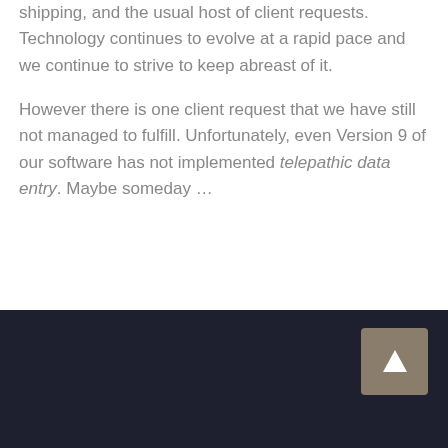shipping, and the usual host of client requests. Technology continues to evolve at a rapid pace and we continue to strive to keep abreast of it.
However there is one client request that we have still not managed to fulfill. Unfortunately, even Version 9 of our software has not implemented telepathic data entry. Maybe someday …
[Figure (other): Dark footer bar with a tan/brown back-to-top arrow button in the upper right corner]